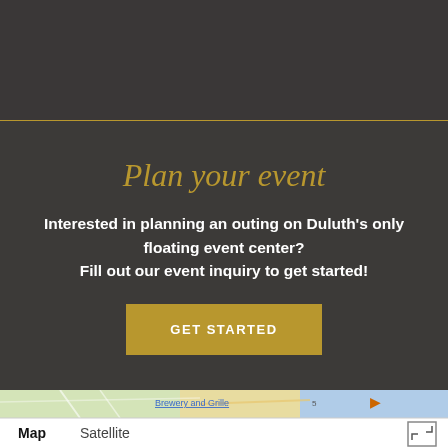Plan your event
Interested in planning an outing on Duluth's only floating event center?
Fill out our event inquiry to get started!
GET STARTED
[Figure (screenshot): Google Maps interface showing map and satellite toggle tabs, with a map image strip visible at the top showing streets and water area near Duluth with a label 'Brewery and Grille']